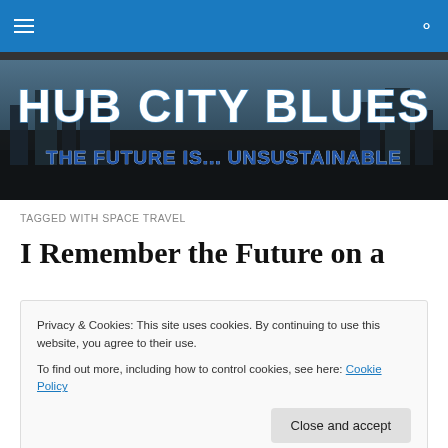Hub City Blues navigation bar
[Figure (illustration): Hub City Blues website banner: large stylized text 'HUB CITY BLUES' above subtitle 'THE FUTURE IS... UNSUSTAINABLE' on a dark city ruins background]
TAGGED WITH SPACE TRAVEL
I Remember the Future on a
Privacy & Cookies: This site uses cookies. By continuing to use this website, you agree to their use.
To find out more, including how to control cookies, see here: Cookie Policy
Close and accept